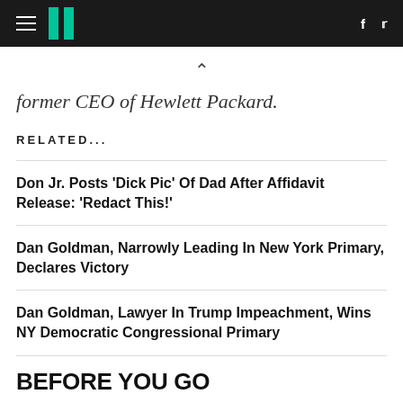HuffPost navigation with hamburger menu, logo, Facebook and Twitter icons
former CEO of Hewlett Packard.
RELATED...
Don Jr. Posts 'Dick Pic' Of Dad After Affidavit Release: 'Redact This!'
Dan Goldman, Narrowly Leading In New York Primary, Declares Victory
Dan Goldman, Lawyer In Trump Impeachment, Wins NY Democratic Congressional Primary
BEFORE YOU GO